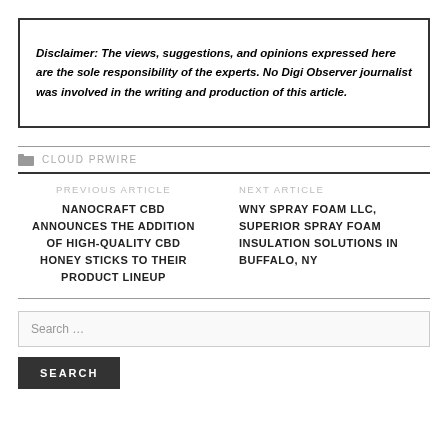Disclaimer: The views, suggestions, and opinions expressed here are the sole responsibility of the experts. No Digi Observer journalist was involved in the writing and production of this article.
CLOUD PRWIRE
PREVIOUS ARTICLE
NANOCRAFT CBD ANNOUNCES THE ADDITION OF HIGH-QUALITY CBD HONEY STICKS TO THEIR PRODUCT LINEUP
NEXT ARTICLE
WNY SPRAY FOAM LLC, SUPERIOR SPRAY FOAM INSULATION SOLUTIONS IN BUFFALO, NY
Search …
SEARCH